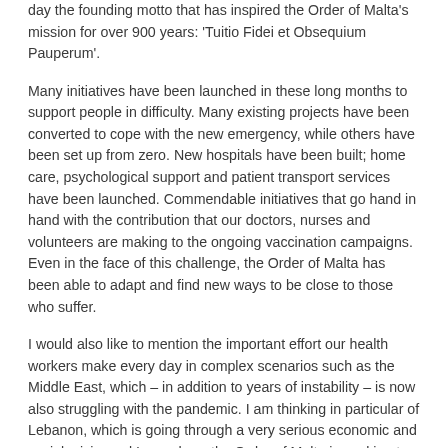day the founding motto that has inspired the Order of Malta's mission for over 900 years: 'Tuitio Fidei et Obsequium Pauperum'.
Many initiatives have been launched in these long months to support people in difficulty. Many existing projects have been converted to cope with the new emergency, while others have been set up from zero. New hospitals have been built; home care, psychological support and patient transport services have been launched. Commendable initiatives that go hand in hand with the contribution that our doctors, nurses and volunteers are making to the ongoing vaccination campaigns. Even in the face of this challenge, the Order of Malta has been able to adapt and find new ways to be close to those who suffer.
I would also like to mention the important effort our health workers make every day in complex scenarios such as the Middle East, which – in addition to years of instability – is now also struggling with the pandemic. I am thinking in particular of Lebanon, which is going through a very serious economic and social crisis, and Iraq, where the Order of Malta is working to build a future for minorities persecuted by intolerance.
Let us therefore continue to nurture trust and hope; I am certain